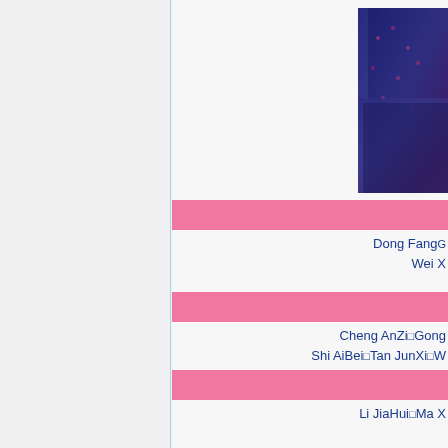[Figure (photo): Partial view of a person in dark blue/purple patterned clothing, photo cropped on the right side of the page]
Dong FangG
Wei X
Cheng AnZi Gong
Shi AiBei Tan JunXi W
Li JiaHui Ma X